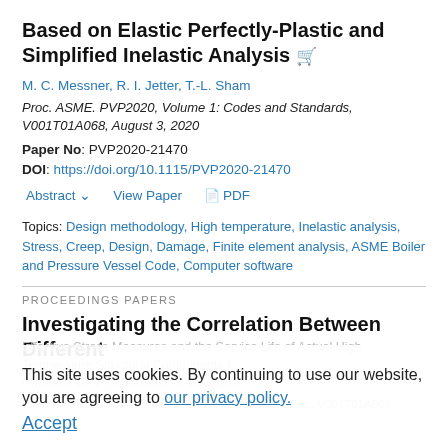Based on Elastic Perfectly-Plastic and Simplified Inelastic Analysis
M. C. Messner, R. I. Jetter, T.-L. Sham
Proc. ASME. PVP2020, Volume 1: Codes and Standards, V001T01A068, August 3, 2020
Paper No: PVP2020-21470
DOI: https://doi.org/10.1115/PVP2020-21470
Abstract  View Paper  PDF
Topics: Design methodology, High temperature, Inelastic analysis, Stress, Creep, Design, Damage, Finite element analysis, ASME Boiler and Pressure Vessel Code, Computer software
PROCEEDINGS PAPERS
Investigating the Correlation Between Different
This site uses cookies. By continuing to use our website, you are agreeing to our privacy policy. Accept